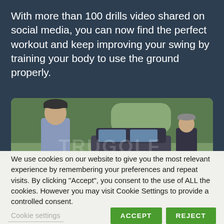With more than 100 drills video shared on social media, you can now find the perfect workout and keep improving your swing by training your body to use the ground properly.
[Figure (photo): Two men standing outdoors near a car, appears to be a golf instruction or training video scene]
We use cookies on our website to give you the most relevant experience by remembering your preferences and repeat visits. By clicking “Accept”, you consent to the use of ALL the cookies. However you may visit Cookie Settings to provide a controlled consent.